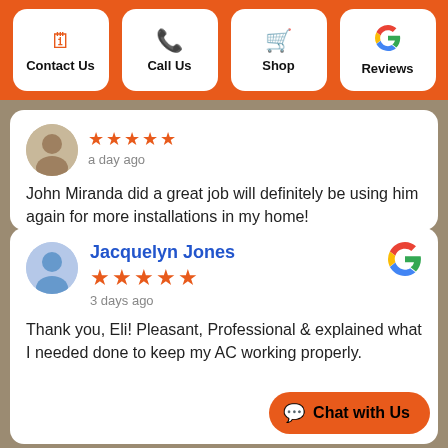Contact Us | Call Us | Shop | Reviews
a day ago
John Miranda did a great job will definitely be using him again for more installations in my home!
Jacquelyn Jones
3 days ago
Thank you, Eli! Pleasant, Professional & explained what I needed done to keep my AC working properly.
Chat with Us